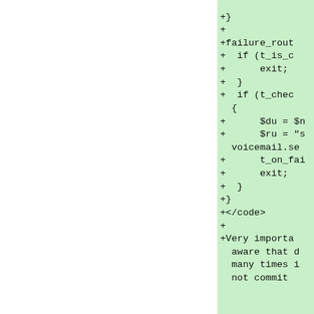+}
+
+failure_rout
+  if (t_is_c
+      exit;
+  }
+  if (t_chec
  {
+      $du = $n
+      $ru = "s
  voicemail.se
+      t_on_fai
+      exit;
+  }
+}
+</code>
+
+Very importa
  aware that d
  many times i
  not commit